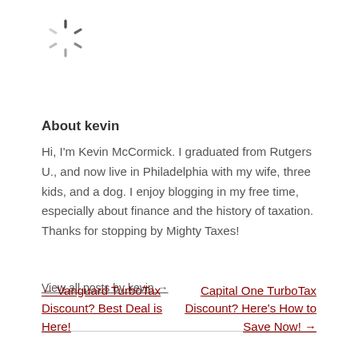[Figure (other): Loading spinner icon (circular dashed spinner graphic)]
About kevin
Hi, I'm Kevin McCormick. I graduated from Rutgers U., and now live in Philadelphia with my wife, three kids, and a dog. I enjoy blogging in my free time, especially about finance and the history of taxation. Thanks for stopping by Mighty Taxes!
View all posts by kevin →
← Vanguard TurboTax Discount? Best Deal is Here!
Capital One TurboTax Discount? Here's How to Save Now! →